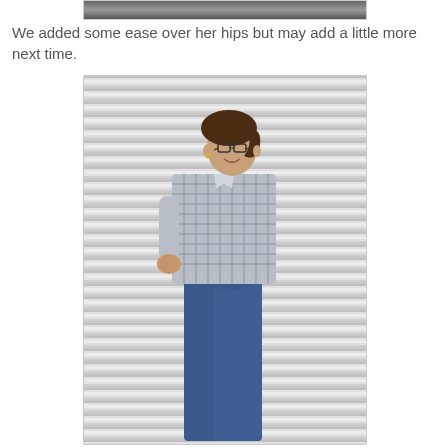[Figure (photo): Partial photo visible at top of page, cropped — appears to show a person, cut off at the top edge]
We added some ease over her hips but may add a little more next time.
[Figure (photo): A woman wearing glasses, a plaid/checkered button-up shirt, and dark blue jeans, posing sideways and smiling, standing in front of a corrugated metal wall/garage door background]